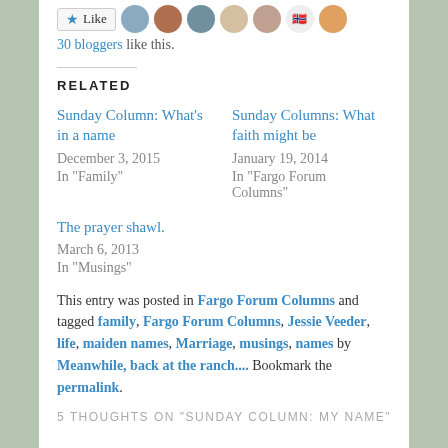30 bloggers like this.
RELATED
Sunday Column: What's in a name
December 3, 2015
In "Family"
Sunday Columns: What faith might be
January 19, 2014
In "Fargo Forum Columns"
The prayer shawl.
March 6, 2013
In "Musings"
This entry was posted in Fargo Forum Columns and tagged family, Fargo Forum Columns, Jessie Veeder, life, maiden names, Marriage, musings, names by Meanwhile, back at the ranch.... Bookmark the permalink.
5 THOUGHTS ON "SUNDAY COLUMN: MY NAME"